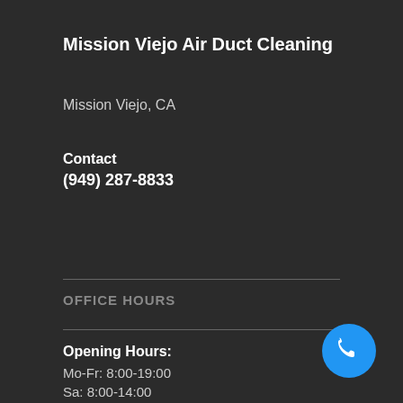Mission Viejo Air Duct Cleaning
Mission Viejo, CA
Contact
(949) 287-8833
OFFICE HOURS
Opening Hours:
Mo-Fr: 8:00-19:00
Sa: 8:00-14:00
So: closed
[Figure (other): Blue circular phone call button icon]